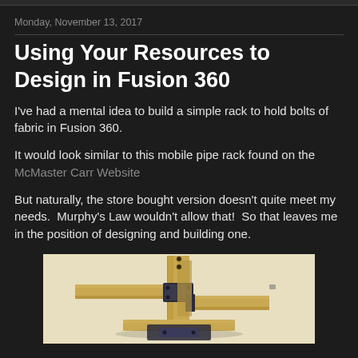Monday, November 13, 2017
Using Your Resources to Design in Fusion 360
I've had a mental idea to build a simple rack to hold bolts of fabric in Fusion 360.
It would look similar to this mobile pipe rack found on the McMaster Carr Website
But naturally, the store bought version doesn't quite meet my needs.  Murphy's Law wouldn't allow that!  So that leaves me in the position of designing and building one.
[Figure (photo): A wooden rack structure resembling a mobile pipe rack, shown in a 3D CAD render with wooden beams and dark metal connectors on a light background.]